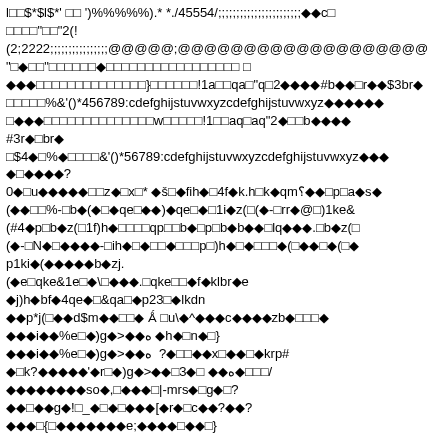l$□□$*$l$*' □□ ')%%%%%​).* *./45554/;;;;;;;;;;;;;;;;;;;;;;;◆◆c□
□□□□□"□□"2(!
(2;2222;;;;;;;;;;;;;;;;@@@@@;@@@@@@@@@@@@@@@@@@@
"□◆□□"□□□□□□◆□□□□□□□□□□□□□□□□□ □
◆◆◆□□□□□□□□□□□□□□}□□□□□□!1a□□qa□"q□2◆◆◆◆#b◆◆□r◆◆$3br◆
□□□□□%&'()*456789:cdefghijstuvwxyzcdefghijstuvwxyz◆◆◆◆◆◆
□◆◆◆□□□□□□□□□□□□□□w□□□□□!1□□aq□aq"2◆□□b◆◆◆◆
#3r◆□br◆
□$4◆□%◆□□□□&'()*56789:cdefghijstuvwxyzcdefghijstuvwxyz◆◆◆
◆□◆◆◆◆?
0◆□u◆◆◆◆◆□□z◆□x□* ◆š□◆fih◆□4f◆k.h□k◆qm؟◆◆□p□a◆s◆
(◆◆□□%-□b◆(◆□◆qe□◆◆)◆qe□◆□1i◆z(□(◆-□rr◆@□)1ke&
(#4◆p□b◆z(□1f)h◆□□□□qp□□b◆□p□b◆b◆◆□lq◆◆◆.□b◆z(□
(◆-□N◆□◆◆◆◆-□ih◆□◆□□◆□□□p□)h◆□◆□□□◆(□◆◆□◆(□◆
p1ki◆(◆◆◆◆◆b◆zj.
(◆e□qke&1e□◆\□◆◆◆.□qke□□◆f◆klbr◆e
◆j)h◆bf◆4qe◆□&qa□◆p23□◆lkdn
◆◆p*j(□◆◆d$m◆◆□□◆ ؿ □u\◆^◆◆◆c◆◆◆◆zb◆□□□◆
◆◆◆i◆◆%e□◆)g◆>◆◆◆ه ◆h◆□n◆□}
◆◆◆i◆◆%e□◆)g◆>◆◆◆ه  ?◆□□◆◆x□◆◆□◆krp#
◆□k?◆◆◆◆◆'◆r□◆)g◆>◆◆□3◆□ ◆◆ه◆□□□/
◆◆◆◆◆◆◆◆so◆,□◆◆◆□|-mrs◆□g◆□?
◆◆□◆◆g◆!□_◆□◆□◆◆◆[◆r◆□c◆◆?◆◆?
◆◆◆□{□◆◆◆◆◆◆◆e;◆◆◆◆□◆◆□}